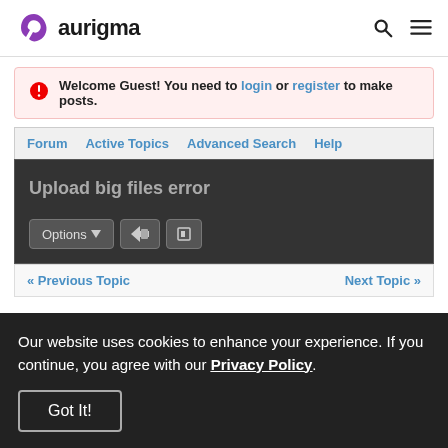aurigma
Welcome Guest! You need to login or register to make posts.
Forum | Active Topics | Advanced Search | Help
Upload big files error
Options | [icon] | [icon]
« Previous Topic   Next Topic »
Our website uses cookies to enhance your experience. If you continue, you agree with our Privacy Policy.
Got It!